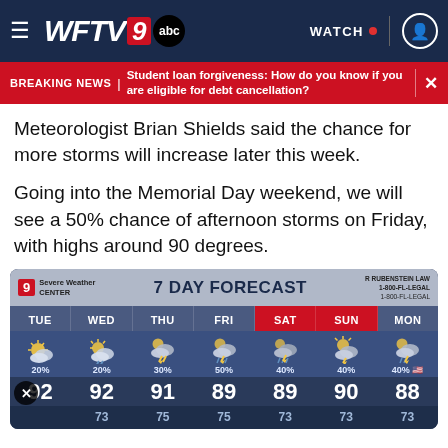WFTV 9 abc — WATCH
BREAKING NEWS | Student loan forgiveness: How do you know if you are eligible for debt cancellation?
Meteorologist Brian Shields said the chance for more storms will increase later this week.
Going into the Memorial Day weekend, we will see a 50% chance of afternoon storms on Friday, with highs around 90 degrees.
[Figure (infographic): 7 Day Forecast weather graphic showing TUE through MON. Days: TUE 20% high 92 low 73; WED 20% high 92 low 73; THU 30% high 91 low 75; FRI 50% high 89 low 75; SAT 40% high 89 low 73; SUN 40% high 90 low 73; MON 40% high 88 low 73.]